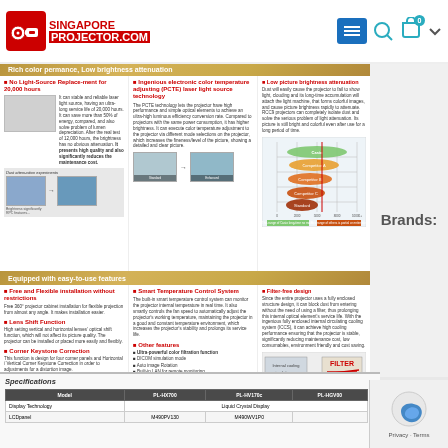[Figure (logo): Singapore Projector .com logo with red projector icon]
[Figure (screenshot): Navigation bar with hamburger menu, search, cart icons]
Rich color permance, Low brightness attenuation
No Light-Source Replacement for 20,000 hours
It can stable and reliable laser light source, having an ultra-long service life of 20,000 hours. It can save more than 50% of energy compared, and also solve problem of lumen depreciation. After the real test of 12,000 hours, the brightness has no obvious attenuation. It presents high quality and also significantly reduces the maintenance cost.
Ingenious electronic color temperature adjusting (PCTE) laser light source technology
The PCTE technology lets the projector have high performance and simple optical elements to achieve an ultra-high luminous efficiency conversion rate. Compared to projectors with the same power consumption, it has higher brightness. It can execute color temperature adjustment to the projector via different mode selections on the projector, which increases the fineness/level of the picture, showing a detailed and clear picture.
Low picture brightness attenuation
Dust will easily cause the projector to fail to show light, clouding and its long-time accumulation will attach the light machine, that forms colorful images, and cause picture brightness rapidly to attenuate. RCC9 projectors can completely isolate dust and solve the serious problem of light attenuation. Its picture is still bright and colorful even after use for a long period of time.
[Figure (infographic): Chart comparing projector brightness attenuation over time, showing colored oval shapes (Casio, competitor brands) on a grid]
Equipped with easy-to-use features
Free and Flexible installation without restrictions
Free 360° projector cabinet installation for flexible projection from almost any angle. It makes installation easier.
Lens Shift Function
High setting vertical and horizontal lenses' optical shift function, which will not affect its picture quality. The projector can be installed or placed more easily and flexibly.
Corner Keystone Correction
This function is design for four corner panels and Horizontal / Vertical Corner Keystone Correction in order to adjustments for a distortion image.
Smart Temperature Control System
The built-in smart temperature control system can monitor the projector internal temperature in real time. It also smartly controls the fan speed to automatically adjust the projector's working temperature, maintaining the projector in a good and constant temperature environment, which increases the projector's stability and prolongs its service life.
Other features
Ultra-powerful color filtration function
DICOM simulation mode
Auto image Rotation
Built-in LAN for remote monitoring
USB Memory Viewer
Filter-free design
Since the entire projector uses a fully enclosed structure design, it can block dust from entering without the need of using a filter, thus prolonging this internal optical element's service life. With the ingenious fully enclosed internal circulating cooling system (ICCS), it can achieve high cooling performance ensuring that the projector is stable, significantly reducing maintenance cost, low consumables, environment friendly and cost saving.
[Figure (infographic): Filter-free design comparison images showing internal structure and filter-free benefit]
Specifications
| Model | PL-HX700 | PL-HV170c | PL-HGV00 |
| --- | --- | --- | --- |
| Display Technology | Liquid Crystal Display |  |  |
| LCDpanel | M490PV130 | M490WV1P0 |  |